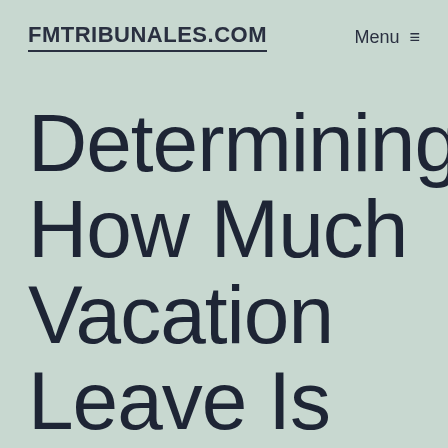FMTRIBUNALES.COM
Determining How Much Vacation Leave Is Available